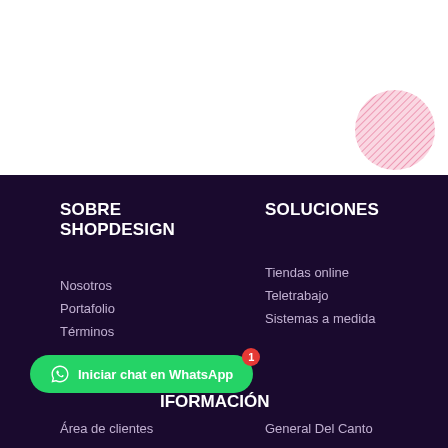[Figure (illustration): Decorative pink circle with crosshatch pattern in upper right corner]
SOBRE SHOPDESIGN
Nosotros
Portafolio
Términos
SOLUCIONES
Tiendas online
Teletrabajo
Sistemas a medida
[Figure (other): Green WhatsApp chat button with message 'Iniciar chat en WhatsApp' and red badge showing number 1]
INFORMACIÓN
Área de clientes
General Del Canto